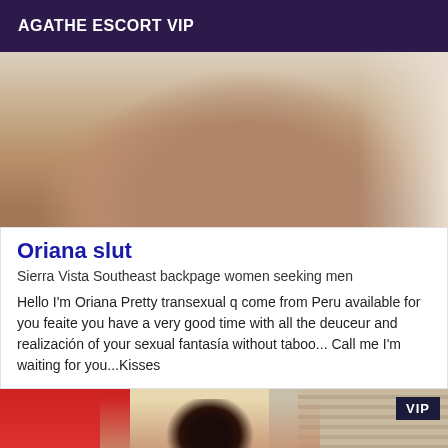AGATHE ESCORT VIP
[Figure (photo): Cropped photo showing woman's bare legs seated on a bed with white bedding]
Oriana slut
Sierra Vista Southeast backpage women seeking men
Hello I'm Oriana Pretty transexual q come from Peru available for you feaite you have a very good time with all the deuceur and realización of your sexual fantasía without taboo... Call me I'm waiting for you...Kisses
[Figure (photo): Photo of dark-haired woman in a room with red wall and blinds, VIP badge in top right corner]